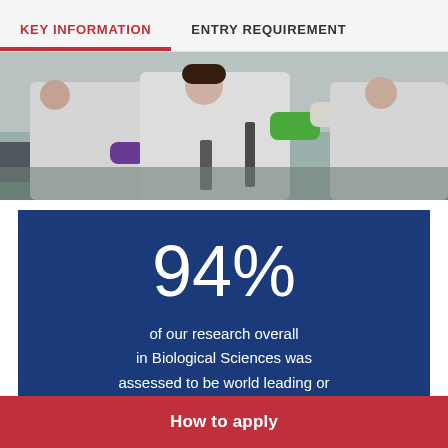KEY INFORMATION | ENTRY REQUIREMENT
[Figure (photo): Two scientists in white lab coats in a laboratory, one wearing green gloves and one wearing purple gloves, handling scientific equipment.]
94%
of our research overall in Biological Sciences was assessed to be world leading or internationally excellent (REF 2021)
How to apply